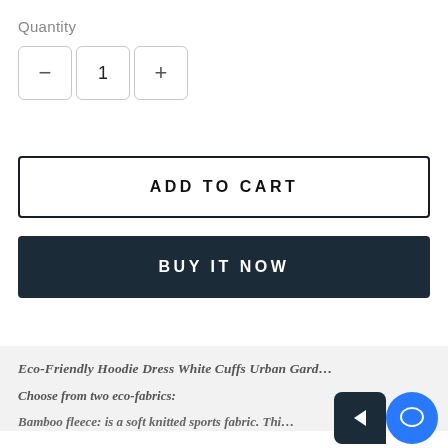Quantity
− 1 +
ADD TO CART
BUY IT NOW
Eco-Friendly Hoodie Dress White Cuffs Urban Gard…
Choose from two eco-fabrics:
Bamboo fleece: is a soft knitted sports fabric. Thi…